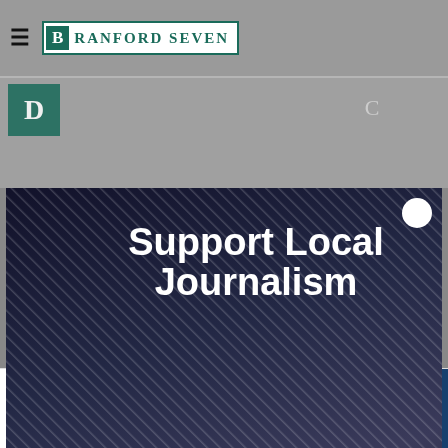Branford Seven
[Figure (screenshot): Website screenshot showing Branford Seven news site header with hamburger menu icon and teal logo]
Support Local Journalism
Now, more than ever, the world needs trustworthy reporting—but good journalism isn't free. Please support us by subscribing or making a contribution.
Subscribe or contribute
[Figure (infographic): Advertisement banner for Nota showing Book A Demo Today with Open button]